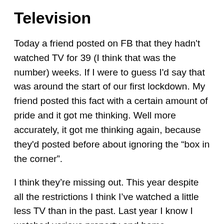Television
Today a friend posted on FB that they hadn't watched TV for 39 (I think that was the number) weeks. If I were to guess I'd say that was around the start of our first lockdown. My friend posted this fact with a certain amount of pride and it got me thinking. Well more accurately, it got me thinking again, because they'd posted before about ignoring the “box in the corner”.
I think they’re missing out. This year despite all the restrictions I think I’ve watched a little less TV than in the past. Last year I know I watched various property and home improvement shows in the afternoons, often while I was ironing. Now I don’t know whether I’ve done less ironing this year but I haven’t watched afternoon TV. It seemed too weird watching people buying houses in